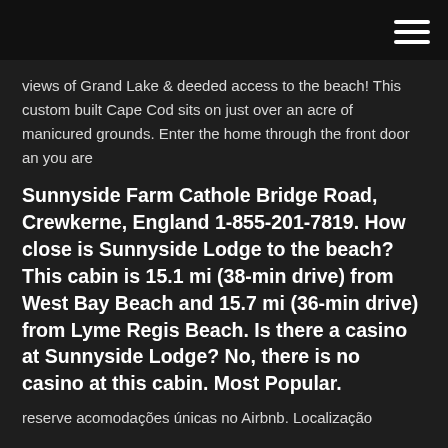views of Grand Lake & deeded access to the beach! This custom built Cape Cod sits on just over an acre of manicured grounds. Enter the home through the front door an you are
Sunnyside Farm Cathole Bridge Road, Crewkerne, England 1-855-201-7819. How close is Sunnyside Lodge to the beach? This cabin is 15.1 mi (38-min drive) from West Bay Beach and 15.7 mi (36-min drive) from Lyme Regis Beach. Is there a casino at Sunnyside Lodge? No, there is no casino at this cabin. Most Popular.
reserve acomodações únicas no Airbnb. Localização